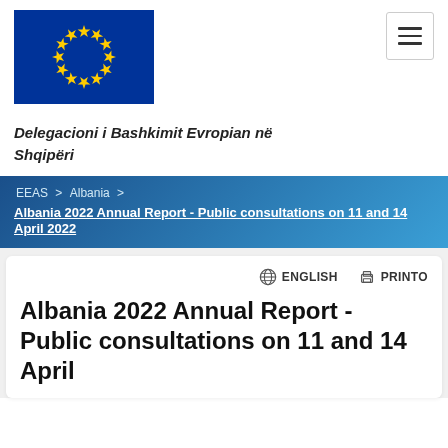[Figure (logo): EU flag logo: blue rectangle with a circle of 12 yellow stars]
Delegacioni i Bashkimit Evropian në Shqipëri
EEAS > Albania > Albania 2022 Annual Report - Public consultations on 11 and 14 April 2022
Albania 2022 Annual Report - Public consultations on 11 and 14 April